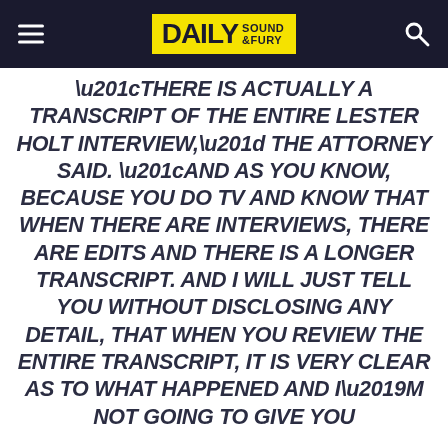DAILY SOUND & FURY
“THERE IS ACTUALLY A TRANSCRIPT OF THE ENTIRE LESTER HOLT INTERVIEW,” THE ATTORNEY SAID. “AND AS YOU KNOW, BECAUSE YOU DO TV AND KNOW THAT WHEN THERE ARE INTERVIEWS, THERE ARE EDITS AND THERE IS A LONGER TRANSCRIPT. AND I WILL JUST TELL YOU WITHOUT DISCLOSING ANY DETAIL, THAT WHEN YOU REVIEW THE ENTIRE TRANSCRIPT, IT IS VERY CLEAR AS TO WHAT HAPPENED AND I’M NOT GOING TO GIVE YOU